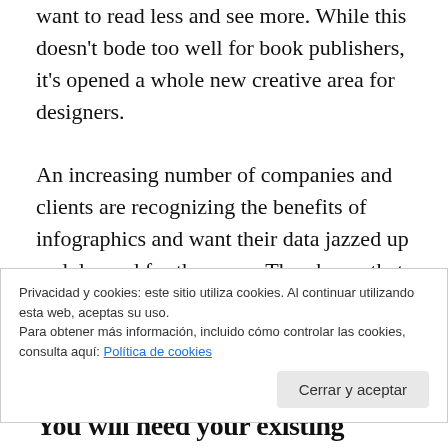want to read less and see more. While this doesn't bode too well for book publishers, it's opened a whole new creative area for designers.

An increasing number of companies and clients are recognizing the benefits of infographics and want their data jazzed up and dressed for the prom. They know that their assiduously compiled information has a far better chance of being read, appreciated, shared and widely circulated if it looks less like an annual report
Privacidad y cookies: este sitio utiliza cookies. Al continuar utilizando esta web, aceptas su uso.
Para obtener más información, incluido cómo controlar las cookies, consulta aquí: Política de cookies
Cerrar y aceptar
You will need your existing